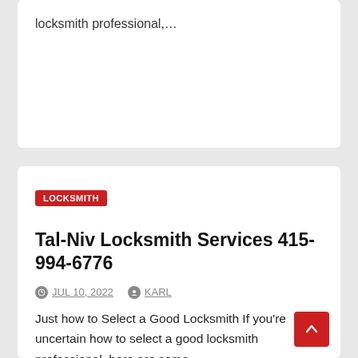locksmith professional,…
LOCKSMITH
Tal-Niv Locksmith Services 415-994-6776
JUL 10, 2022  KARL
Just how to Select a Good Locksmith If you're uncertain how to select a good locksmith professional, here are some…